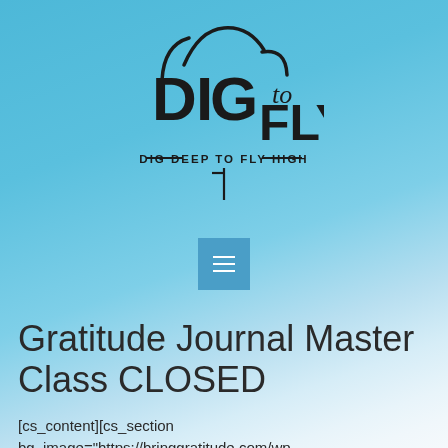[Figure (logo): Dig to Fly logo with clouds and text 'DIG to FLY' and tagline 'DIG DEEP TO FLY HIGH']
[Figure (other): Blue square menu/hamburger button with three horizontal white lines]
Gratitude Journal Master Class CLOSED
[cs_content][cs_section bg_image="https://bringgratitude.com/wp-